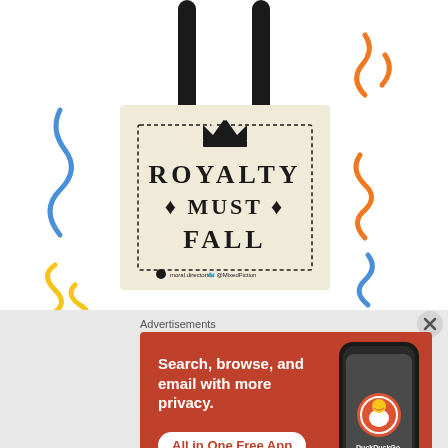[Figure (photo): A canvas tote bag with black handles displaying the text 'ROYALTY MUST FALL' inside a dotted border rectangle with a crown illustration on top. Colorful squiggle decorations (blue, orange, yellow) surround the bag on a white background.]
Advertisements
[Figure (illustration): DuckDuckGo advertisement banner on orange-red background. Text reads: 'Search, browse, and email with more privacy. All in One Free App'. Shows a phone mockup with DuckDuckGo logo.]